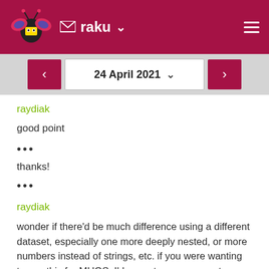raku
24 April 2021
raydiak
good point
•••
thanks!
•••
raydiak
wonder if there'd be much difference using a different dataset, especially one more deeply nested, or more numbers instead of strings, etc. if you were wanting to use this for MUGS, I'd expect many games to use a lot more